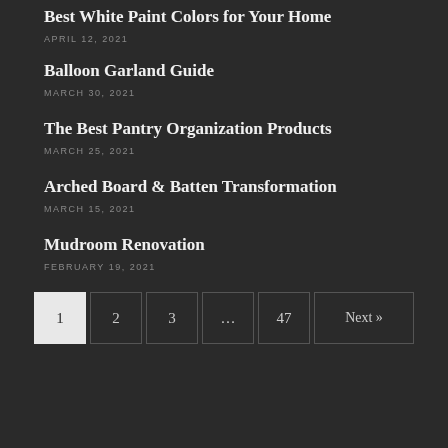Best White Paint Colors for Your Home
APRIL 12, 2021
Balloon Garland Guide
MARCH 30, 2021
The Best Pantry Organization Products
MARCH 25, 2021
Arched Board & Batten Transformation
MARCH 15, 2021
Mudroom Renovation
FEBRUARY 19, 2021
1 2 3 … 47 Next »